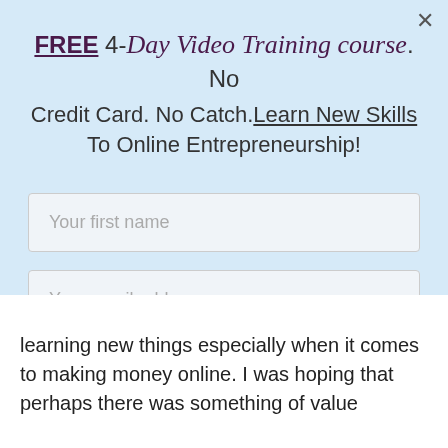FREE 4-Day Video Training course. No Credit Card. No Catch. Learn New Skills To Online Entrepreneurship!
[Figure (screenshot): Web form with two input fields (Your first name, Your email address) and a blue Send me the guide button, on a light blue background]
learning new things especially when it comes to making money online. I was hoping that perhaps there was something of value